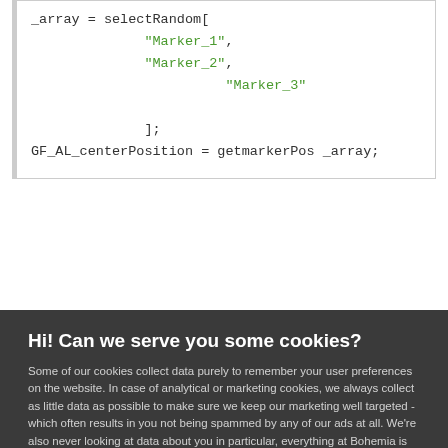[Figure (screenshot): Code snippet showing _array = selectRandom[ with string values 'Marker_1', 'Marker_2', 'Marker_3' and ]; then GF_AL_centerPosition = getmarkerPos _array;]
Hi! Can we serve you some cookies?
Some of our cookies collect data purely to remember your user preferences on the website. In case of analytical or marketing cookies, we always collect as little data as possible to make sure we keep our marketing well targeted - which often results in you not being spammed by any of our ads at all. We're also never looking at data about you in particular, everything at Bohemia is analyzed in an aggregated form. Learn more
Allow all cookies
I want more options